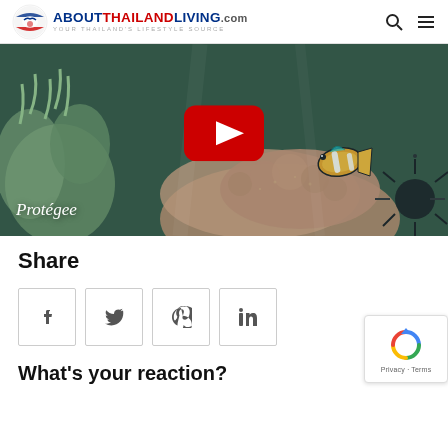ABOUTTHAILANDLIVING.com — YOUR THAILAND'S LIFESTYLE SOURCE
[Figure (screenshot): YouTube video thumbnail showing underwater coral reef scene with a clownfish, YouTube play button overlay, and text 'Protégee' in white italic at bottom left]
Share
[Figure (infographic): Social share buttons: Facebook, Twitter, Pinterest, LinkedIn]
What's your reaction?